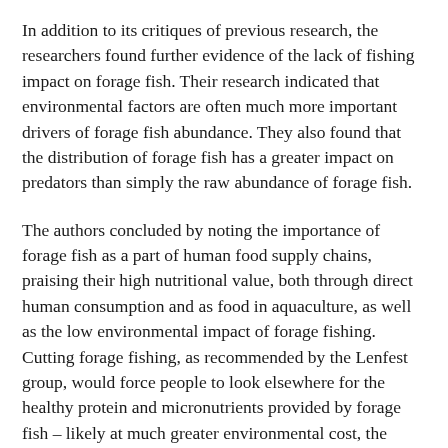In addition to its critiques of previous research, the researchers found further evidence of the lack of fishing impact on forage fish. Their research indicated that environmental factors are often much more important drivers of forage fish abundance. They also found that the distribution of forage fish has a greater impact on predators than simply the raw abundance of forage fish.
The authors concluded by noting the importance of forage fish as a part of human food supply chains, praising their high nutritional value, both through direct human consumption and as food in aquaculture, as well as the low environmental impact of forage fishing. Cutting forage fishing, as recommended by the Lenfest group, would force people to look elsewhere for the healthy protein and micronutrients provided by forage fish – likely at much greater environmental cost, the authors wrote.
“Forage fish provide some of the lowest environmental